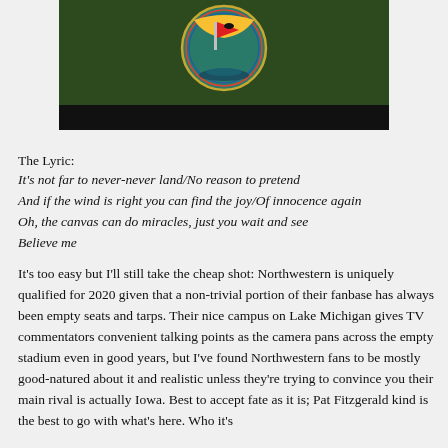[Figure (screenshot): A YouTube video thumbnail showing a circular emblem/logo with a red flag and bird on a green and teal background, with a black bar at the bottom.]
The Lyric:
It's not far to never-never land/No reason to pretend
And if the wind is right you can find the joy/Of innocence again
Oh, the canvas can do miracles, just you wait and see
Believe me
It's too easy but I'll still take the cheap shot: Northwestern is uniquely qualified for 2020 given that a non-trivial portion of their fanbase has always been empty seats and tarps. Their nice campus on Lake Michigan gives TV commentators convenient talking points as the camera pans across the empty stadium even in good years, but I've found Northwestern fans to be mostly good-natured about it and realistic unless they're trying to convince you their main rival is actually Iowa. Best to accept fate as it is; Pat Fitzgerald kind is the best to go with what's here. Who it's